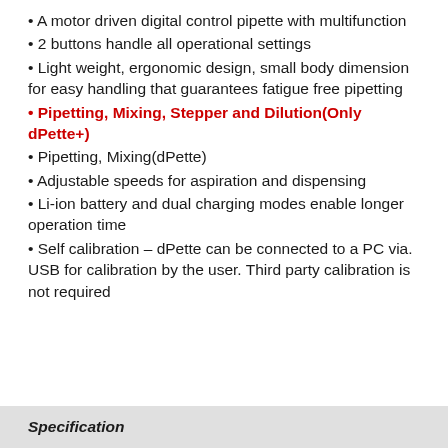A motor driven digital control pipette with multifunction
2 buttons handle all operational settings
Light weight, ergonomic design, small body dimension for easy handling that guarantees fatigue free pipetting
Pipetting, Mixing, Stepper and Dilution(Only dPette+)
Pipetting, Mixing(dPette)
Adjustable speeds for aspiration and dispensing
Li-ion battery and dual charging modes enable longer operation time
Self calibration – dPette can be connected to a PC via. USB for calibration by the user. Third party calibration is not required
Specification